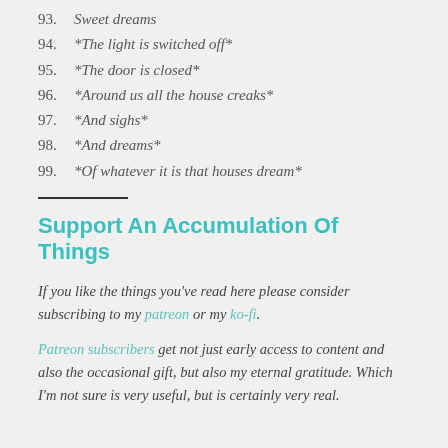93. Sweet dreams
94. *The light is switched off*
95. *The door is closed*
96. *Around us all the house creaks*
97. *And sighs*
98. *And dreams*
99. *Of whatever it is that houses dream*
Support An Accumulation Of Things
If you like the things you've read here please consider subscribing to my patreon or my ko-fi.
Patreon subscribers get not just early access to content and also the occasional gift, but also my eternal gratitude. Which I'm not sure is very useful, but is certainly very real.